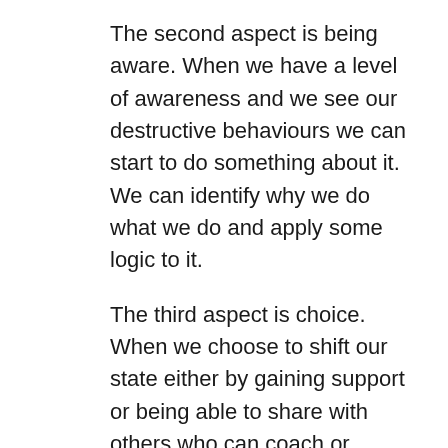The second aspect is being aware. When we have a level of awareness and we see our destructive behaviours we can start to do something about it. We can identify why we do what we do and apply some logic to it.
The third aspect is choice. When we choose to shift our state either by gaining support or being able to share with others who can coach or mentor us, we can change to being empowered rather than disempowered. This is where the fundamental shift happens.
The freedom that comes with the choice to shift the patterns that no longer serve us is liberating. It's like we have just woken up after a long sleep.
Having an empowered mindset with high levels of commitment, drive and refreshed energy means